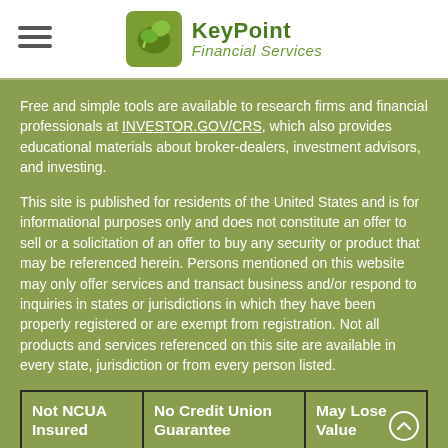KeyPoint Financial Services
Free and simple tools are available to research firms and financial professionals at INVESTOR.GOV/CRS, which also provides educational materials about broker-dealers, investment advisors, and investing.
This site is published for residents of the United States and is for informational purposes only and does not constitute an offer to sell or a solicitation of an offer to buy any security or product that may be referenced herein. Persons mentioned on this website may only offer services and transact business and/or respond to inquiries in states or jurisdictions in which they have been properly registered or are exempt from registration. Not all products and services referenced on this site are available in every state, jurisdiction or from every person listed.
Not NCUA Insured | No Credit Union Guarantee | May Lose Value